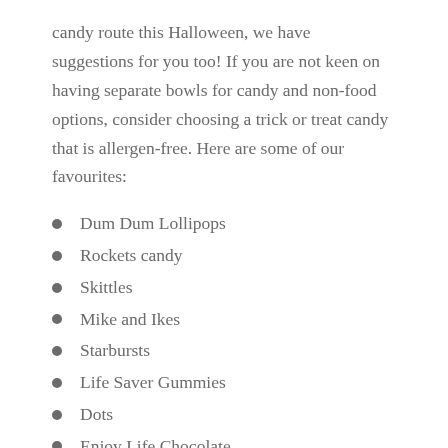candy route this Halloween, we have suggestions for you too! If you are not keen on having separate bowls for candy and non-food options, consider choosing a trick or treat candy that is allergen-free. Here are some of our favourites:
Dum Dum Lollipops
Rockets candy
Skittles
Mike and Ikes
Starbursts
Life Saver Gummies
Dots
Enjoy Life Chocolate